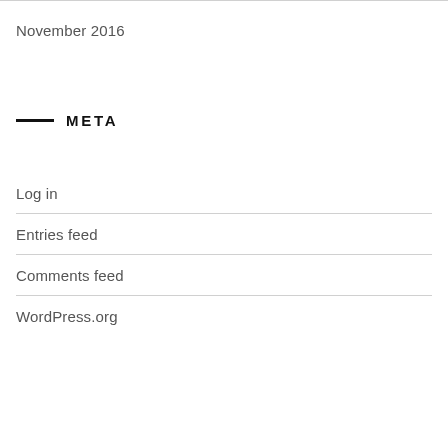November 2016
META
Log in
Entries feed
Comments feed
WordPress.org